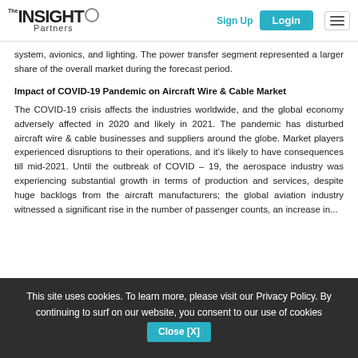The Insight Partners — Sign Up | Login
system, avionics, and lighting. The power transfer segment represented a larger share of the overall market during the forecast period.
Impact of COVID-19 Pandemic on Aircraft Wire & Cable Market
The COVID-19 crisis affects the industries worldwide, and the global economy adversely affected in 2020 and likely in 2021. The pandemic has disturbed aircraft wire & cable businesses and suppliers around the globe. Market players experienced disruptions to their operations, and it's likely to have consequences till mid-2021. Until the outbreak of COVID – 19, the aerospace industry was experiencing substantial growth in terms of production and services, despite huge backlogs from the aircraft manufacturers; the global aviation industry witnessed a significant rise in the number of passenger counts, an increase in...
This site uses cookies. To learn more, please visit our Privacy Policy. By continuing to surf on our website, you consent to our use of cookies Close [X]